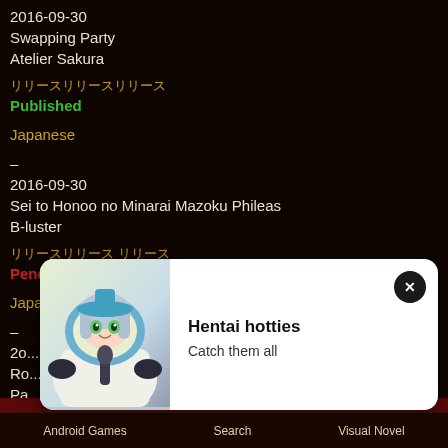2016-09-30
Swapping Party
Atelier Sakura
発売日発売日発売日 (label in Japanese, orange)
Published
Japanese
–
2016-09-30
Sei to Honoo no Minarai Mazoku Phileas
B-luster
発売日発売日 発売日 (label orange)
Pending
Japanese
–
[Figure (illustration): Popup advertisement with anime girl illustration, title 'Hentai hotties', subtitle 'Catch them all', close button with X]
Android Games    Search    Visual Novel